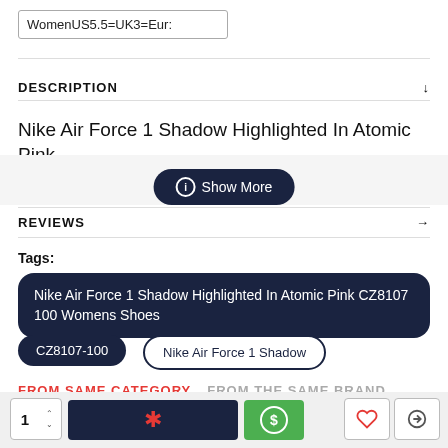WomenUS5.5=UK3=Eur:
DESCRIPTION
Nike Air Force 1 Shadow Highlighted In Atomic Pink
CZ8107 100 Womens Shoes cheap CZ8107-100
Show More
REVIEWS
Tags:
Nike Air Force 1 Shadow Highlighted In Atomic Pink CZ8107 100 Womens Shoes
CZ8107-100
Nike Air Force 1 Shadow
FROM SAME CATEGORY    FROM THE SAME BRAND